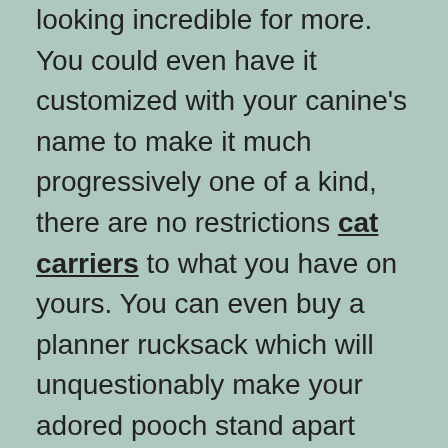looking incredible for more. You could even have it customized with your canine's name to make it much progressively one of a kind, there are no restrictions cat carriers to what you have on yours. You can even buy a planner rucksack which will unquestionably make your adored pooch stand apart from the rest. These transporters can likewise be utilized in the vehicle to guarantee that your canine is securely made sure about on any vehicle venture and numerous individuals use them on flights.
They will empower you to bond with your